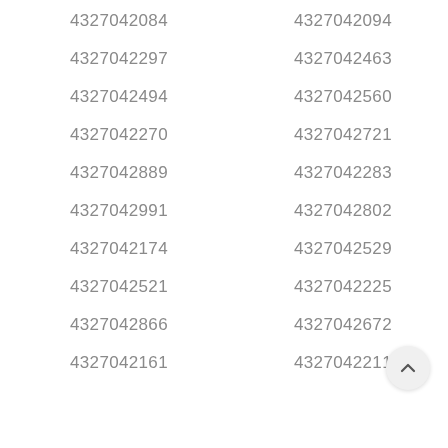4327042084
4327042094
4327042297
4327042463
4327042494
4327042560
4327042270
4327042721
4327042889
4327042283
4327042991
4327042802
4327042174
4327042529
4327042521
4327042225
4327042866
4327042672
4327042161
4327042211